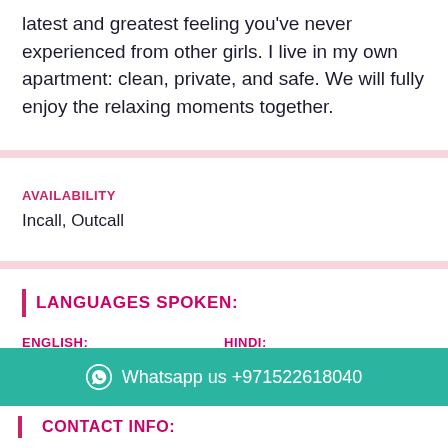latest and greatest feeling you've never experienced from other girls. I live in my own apartment: clean, private, and safe. We will fully enjoy the relaxing moments together.
AVAILABILITY
Incall, Outcall
LANGUAGES SPOKEN:
ENGLISH: Fluent
HINDI: Fluent
Whatsapp us +971522618040
CONTACT INFO: